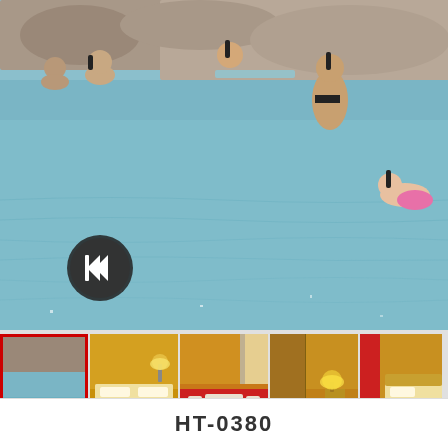[Figure (photo): Main large photo showing people snorkeling and swimming in clear shallow water near rocky shoreline. A black rewind/back button overlay is visible on the left side of the image.]
[Figure (photo): Thumbnail strip with 5 photos: (1) beach/rocky shore with swimmers - selected with red border, (2) hotel room with double bed yellow walls, (3) hotel room with red carpet and table chairs, (4) hotel room corner with lamp, (5) hotel room with bed partial view.]
HT-0380